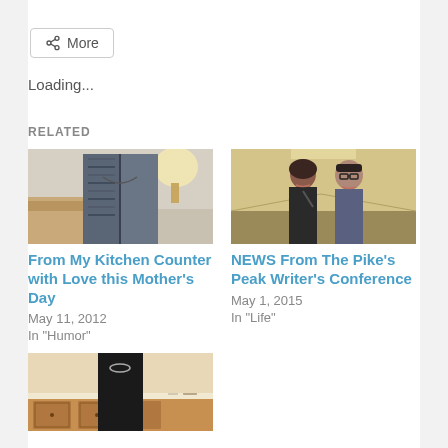More
Loading...
RELATED
[Figure (photo): A person wearing a patterned cardigan indoors]
From My Kitchen Counter with Love this Mother's Day
May 11, 2012
In "Humor"
[Figure (photo): Two people smiling in a hallway]
NEWS From The Pike's Peak Writer's Conference
May 1, 2015
In "Life"
[Figure (photo): A person in a kitchen with wooden cabinetry]